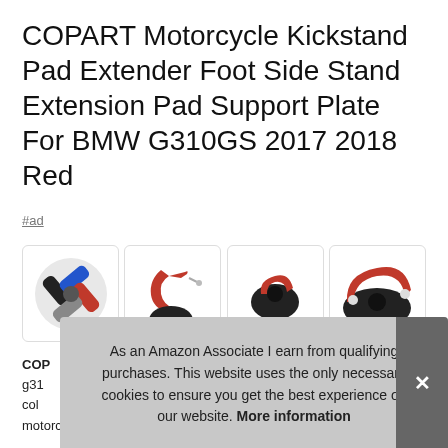COPART Motorcycle Kickstand Pad Extender Foot Side Stand Extension Pad Support Plate For BMW G310GS 2017 2018 Red
#ad
[Figure (photo): Four product images of motorcycle kickstand pad extenders in various colors and views]
COPART Motorcycle Kickstand Pad Extender Foot Side Stand Extension Pad Support Plate For BMW G310GS 2017 2018 Red - fits g310 motorcycles. Stable and durable. Motorcycle side stand pads
As an Amazon Associate I earn from qualifying purchases. This website uses the only necessary cookies to ensure you get the best experience on our website. More information